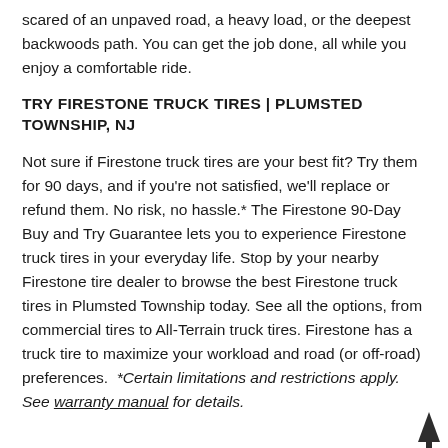scared of an unpaved road, a heavy load, or the deepest backwoods path. You can get the job done, all while you enjoy a comfortable ride.
TRY FIRESTONE TRUCK TIRES | PLUMSTED TOWNSHIP, NJ
Not sure if Firestone truck tires are your best fit? Try them for 90 days, and if you're not satisfied, we'll replace or refund them. No risk, no hassle.* The Firestone 90-Day Buy and Try Guarantee lets you to experience Firestone truck tires in your everyday life. Stop by your nearby Firestone tire dealer to browse the best Firestone truck tires in Plumsted Township today. See all the options, from commercial tires to All-Terrain truck tires. Firestone has a truck tire to maximize your workload and road (or off-road) preferences.  *Certain limitations and restrictions apply. See warranty manual for details.